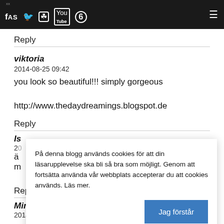xx FASHIONX [social icons] [menu]
Reply
viktoria
2014-08-25 09:42
you look so beautiful!!! simply gorgeous

http://www.thedaydreamings.blogspot.de
Reply
På denna blogg används cookies för att din läsarupplevelse ska bli så bra som möjligt. Genom att fortsätta använda vår webbplats accepterar du att cookies används. Läs mer.
Jag förstår
Reply
Mimmi
2014-08-25 09:56